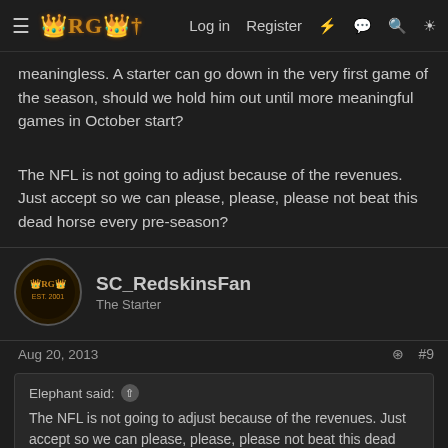Log in  Register  [icons]
meaningless. A starter can go down in the very first game of the season, should we hold him out until more meaningful games in October start?
The NFL is not going to adjust because of the revenues. Just accept so we can please, please, please not beat this dead horse every pre-season?
SC_RedskinsFan
The Starter
Aug 20, 2013  #9
Elephant said:
The NFL is not going to adjust because of the revenues. Just accept so we can please, please, please not beat this dead horse every pre-season?